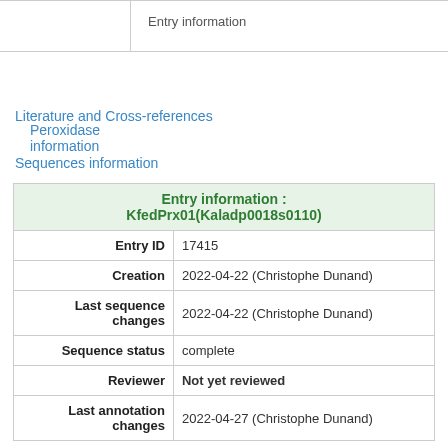Entry information
Peroxidase information
Literature and Cross-references
Sequences information
| Entry information : KfedPrx01(Kaladp0018s0110) |
| --- |
| Entry ID | 17415 |
| Creation | 2022-04-22 (Christophe Dunand) |
| Last sequence changes | 2022-04-22 (Christophe Dunand) |
| Sequence status | complete |
| Reviewer | Not yet reviewed |
| Last annotation changes | 2022-04-27 (Christophe Dunand) |